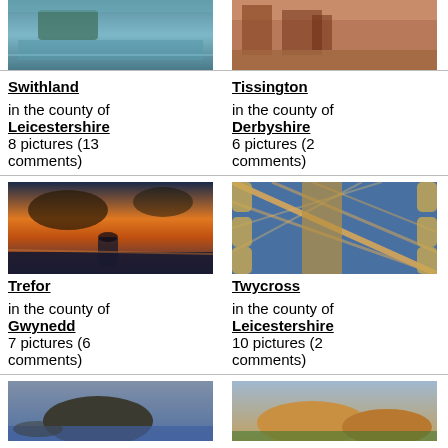[Figure (photo): Aerial or water view photo for Swithland]
[Figure (photo): Brick building photo for Tissington]
Swithland
Tissington
in the county of Leicestershire
8 pictures (13 comments)
in the county of Derbyshire
6 pictures (2 comments)
[Figure (photo): Sunset seascape with boat for Trefor]
[Figure (photo): Tiled floor/path overhead view for Twycross]
Trefor
Twycross
in the county of Gwynedd
7 pictures (6 comments)
in the county of Leicestershire
10 pictures (2 comments)
[Figure (photo): Lake and hill landscape photo]
[Figure (photo): Hay bales in field at sunset]